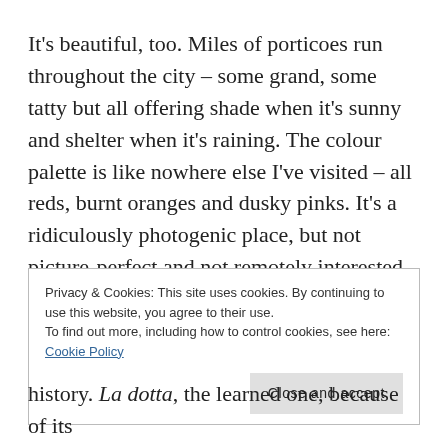It's beautiful, too. Miles of porticoes run throughout the city – some grand, some tatty but all offering shade when it's sunny and shelter when it's raining. The colour palette is like nowhere else I've visited – all reds, burnt oranges and dusky pinks. It's a ridiculously photogenic place, but not picture-perfect and not remotely interested in being so pristine. It has far too much incredible life to it for
Privacy & Cookies: This site uses cookies. By continuing to use this website, you agree to their use.
To find out more, including how to control cookies, see here: Cookie Policy
Close and accept
history. La dotta, the learned one, because of its